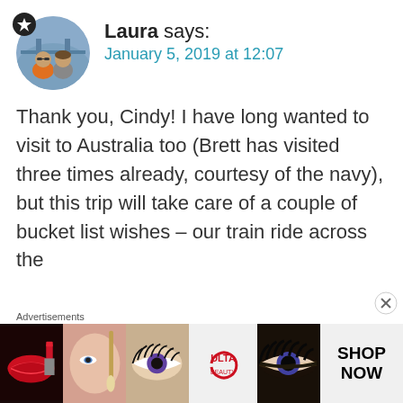[Figure (photo): Circular avatar photo of two people (a man and a woman) in front of Tower Bridge in London. Man wearing orange jacket. A star badge icon in the top-left of the avatar.]
Laura says:
January 5, 2019 at 12:07
Thank you, Cindy! I have long wanted to visit to Australia too (Brett has visited three times already, courtesy of the navy), but this trip will take care of a couple of bucket list wishes – our train ride across the
Advertisements
[Figure (photo): Advertisement banner for ULTA beauty showing close-up beauty images (lips with red lipstick, makeup brush, eye with mascara, ULTA logo, dramatic eye makeup) with SHOP NOW button on the right.]